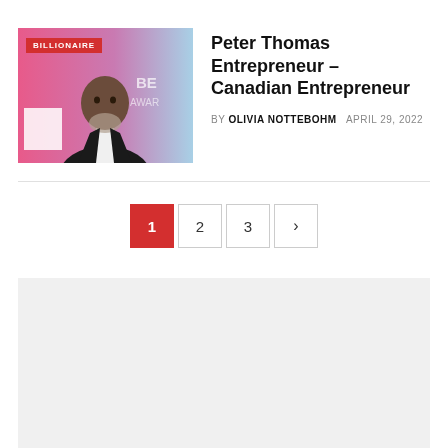[Figure (photo): Thumbnail photo of Peter Thomas at a BET Awards event, with a BILLIONAIRE badge overlay in red]
Peter Thomas Entrepreneur – Canadian Entrepreneur
BY OLIVIA NOTTEBOHM   APRIL 29, 2022
Pagination: 1 (active), 2, 3, >
[Figure (other): Gray placeholder/advertisement block]